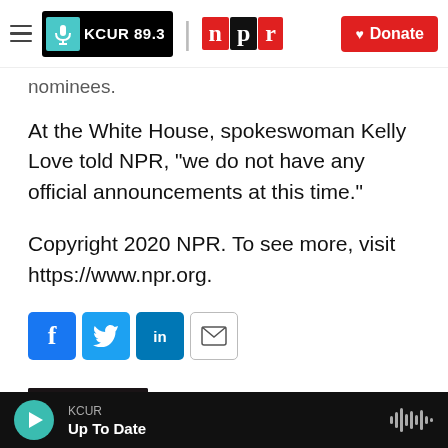KCUR 89.3 | npr | Donate
nominees.
At the White House, spokeswoman Kelly Love told NPR, "we do not have any official announcements at this time."
Copyright 2020 NPR. To see more, visit https://www.npr.org.
[Figure (infographic): Social sharing buttons: Facebook (f), Twitter (bird), LinkedIn (in), Email (envelope)]
[Figure (photo): Headshot photo of Carrie Johnson, a woman with curly brown hair against a dark background]
Carrie Johnson
KCUR — Up To Date (audio player bar)